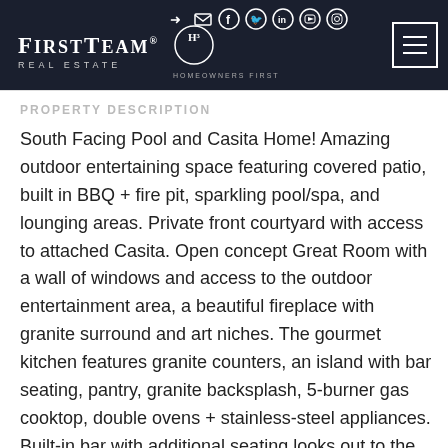FirstTeam Real Estate — Homeowners First — Navigation header with social icons
PROPERTY DESCRIPTION
South Facing Pool and Casita Home! Amazing outdoor entertaining space featuring covered patio, built in BBQ + fire pit, sparkling pool/spa, and lounging areas. Private front courtyard with access to attached Casita. Open concept Great Room with a wall of windows and access to the outdoor entertainment area, a beautiful fireplace with granite surround and art niches. The gourmet kitchen features granite counters, an island with bar seating, pantry, granite backsplash, 5-burner gas cooktop, double ovens + stainless-steel appliances. Built-in bar with additional seating looks out to the backyard and includes glass display shelves + storage + beverage cooler. The large primary suite has access to the backyard, custom walk-in